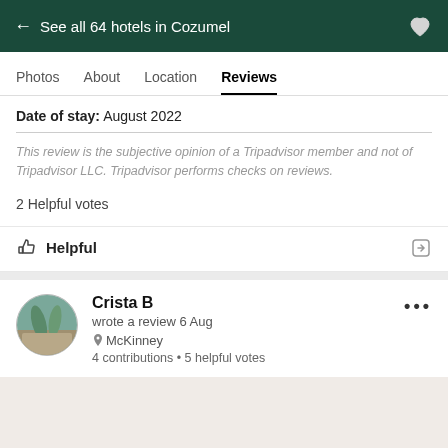← See all 64 hotels in Cozumel
Photos   About   Location   Reviews
Date of stay: August 2022
This review is the subjective opinion of a Tripadvisor member and not of Tripadvisor LLC. Tripadvisor performs checks on reviews.
2 Helpful votes
Helpful
Crista B
wrote a review 6 Aug
McKinney
4 contributions • 5 helpful votes